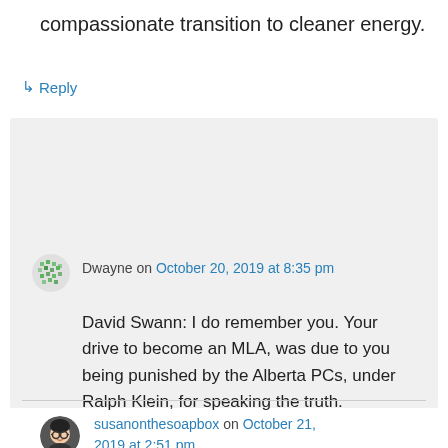compassionate transition to cleaner energy.
↳ Reply
Dwayne on October 20, 2019 at 8:35 pm
David Swann: I do remember you. Your drive to become an MLA, was due to you being punished by the Alberta PCs, under Ralph Klein, for speaking the truth.
↳ Reply
susanonthesoapbox on October 21, 2019 at 2:51 pm